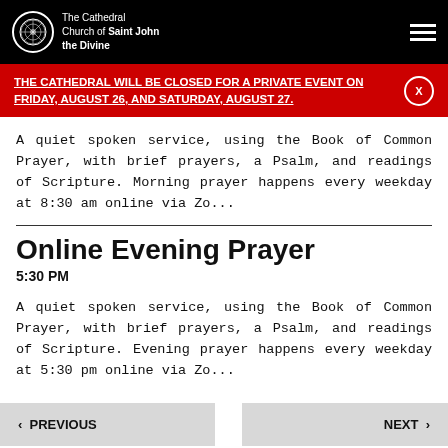The Cathedral Church of Saint John the Divine
THE CATHEDRAL WILL BE CLOSED FOR A PRIVATE EVENT ON FRIDAY, AUGUST 26, AND SATURDAY, AUGUST 27.
A quiet spoken service, using the Book of Common Prayer, with brief prayers, a Psalm, and readings of Scripture. Morning prayer happens every weekday at 8:30 am online via Zo...
Online Evening Prayer
5:30 PM
A quiet spoken service, using the Book of Common Prayer, with brief prayers, a Psalm, and readings of Scripture. Evening prayer happens every weekday at 5:30 pm online via Zo...
< PREVIOUS    NEXT >